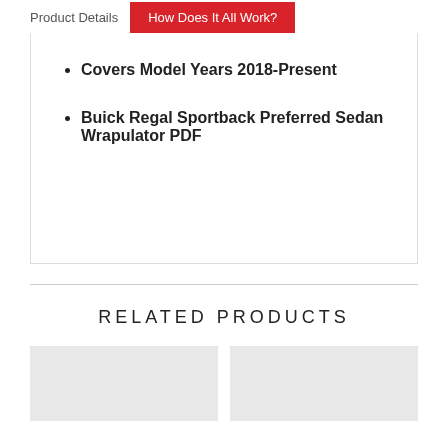Product Details | How Does It All Work?
Covers Model Years 2018-Present
Buick Regal Sportback Preferred Sedan Wrapulator PDF
RELATED PRODUCTS